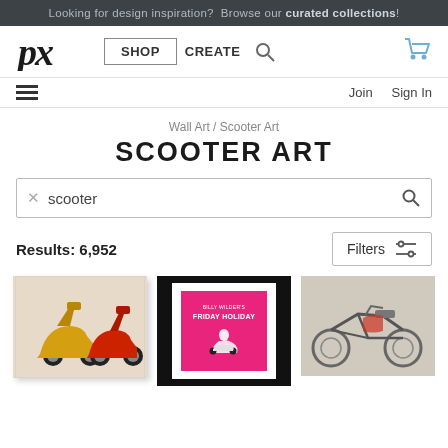Looking for design inspiration? Browse our curated collections!
[Figure (screenshot): Website navigation bar with px logo, SHOP, CREATE, search icon, and cart icon]
Join   Sign In
Wall Art / Scooter Art
SCOOTER ART
scooter (search bar)
Results: 6,952
Filters
[Figure (photo): Three product thumbnail images: two colorful scooters on canvas, a framed pink movie poster with scooter scene, and a vintage motorcycle photo]
Scooter art product thumbnails